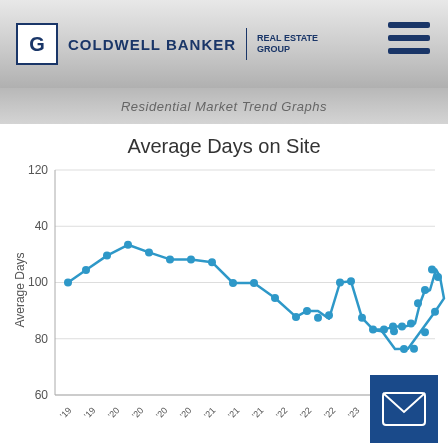[Figure (logo): Coldwell Banker Real Estate Group logo with navigation hamburger menu]
Residential Market Trend Graphs
[Figure (line-chart): Average Days on Site]